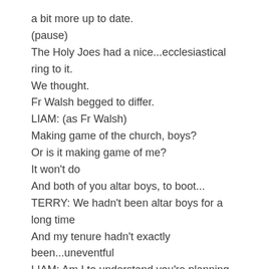a bit more up to date.
(pause)
The Holy Joes had a nice...ecclesiastical ring to it.
We thought.
Fr Walsh begged to differ.
LIAM: (as Fr Walsh)
Making game of the church, boys?
Or is it making game of me?
It won't do
And both of you altar boys, to boot...
TERRY: We hadn't been altar boys for a long time
And my tenure hadn't exactly been...uneventful
LIAM: Am I to understand you're planning to wear those...
abominations for the concert?
TERRY: (fingering his surplice)
They're our uniforms